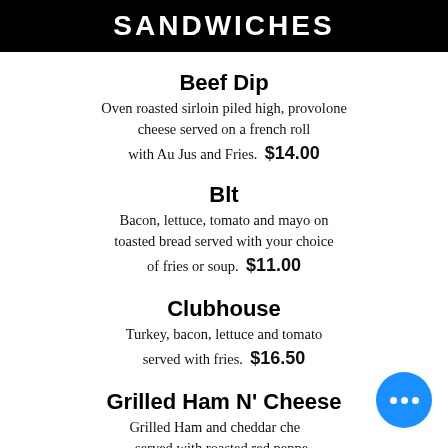SANDWICHES
Beef Dip
Oven roasted sirloin piled high, provolone cheese served on a french roll with Au Jus and Fries.  $14.00
Blt
Bacon, lettuce, tomato and mayo on toasted bread served with your choice of fries or soup.  $11.00
Clubhouse
Turkey, bacon, lettuce and tomato served with fries.  $16.50
Grilled Ham N' Cheese
Grilled Ham and cheddar cheese served with roasted red pepper tomato soup or soup of the day. $11.00